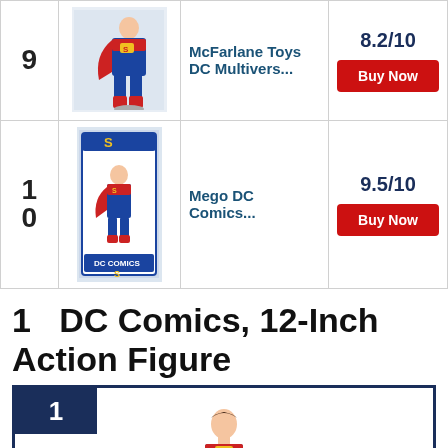| Rank | Image | Product Name | Score |
| --- | --- | --- | --- |
| 9 | [image] | McFarlane Toys DC Multivers... | 8.2/10 | Buy Now |
| 10 | [image] | Mego DC Comics... | 9.5/10 | Buy Now |
1   DC Comics, 12-Inch Action Figure
[Figure (other): Featured product box with rank badge '1' in dark navy, and a Superman action figure image below]